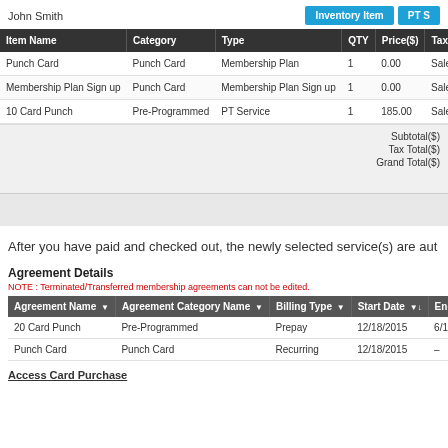John Smith
| Item Name | Category | Type | QTY | Price($) | Tax (%) |
| --- | --- | --- | --- | --- | --- |
| Punch Card | Punch Card | Membership Plan | 1 | 0.00 | Sales Tax(7.7750%) |
| Membership Plan Sign up | Punch Card | Membership Plan Sign up | 1 | 0.00 | Sales Tax(7.7750%) |
| 10 Card Punch | Pre-Programmed | PT Service | 1 | 185.00 | Sales Tax(7.7750%) |
Subtotal($)
Tax Total($)
Grand Total($)
After you have paid and checked out, the newly selected service(s) are aut
Agreement Details
NOTE : Terminated/Transferred membership agreements can not be edited.
| Agreement Name | Agreement Category Name | Billing Type | Start Date | End Date |
| --- | --- | --- | --- | --- |
| 20 Card Punch | Pre-Programmed | Prepay | 12/18/2015 | 6/17/2015 |
| Punch Card | Punch Card | Recurring | 12/18/2015 | — |
Access Card Purchase